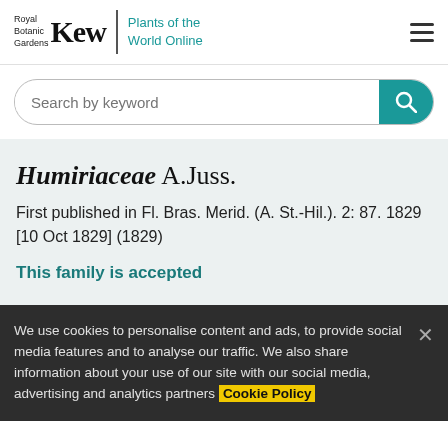Royal Botanic Gardens Kew | Plants of the World Online
[Figure (screenshot): Search bar with 'Search by keyword' placeholder and teal search button]
Humiriaceae A.Juss.
First published in Fl. Bras. Merid. (A. St.-Hil.). 2: 87. 1829 [10 Oct 1829] (1829)
This family is accepted
We use cookies to personalise content and ads, to provide social media features and to analyse our traffic. We also share information about your use of our site with our social media, advertising and analytics partners Cookie Policy